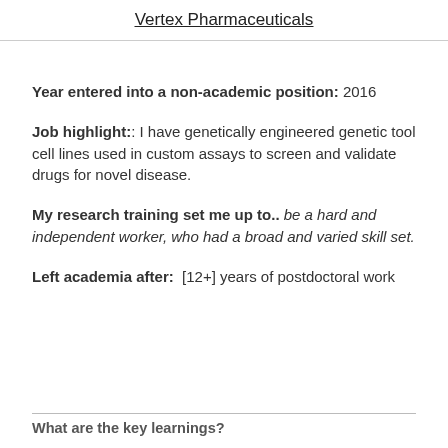Vertex Pharmaceuticals
Year entered into a non-academic position: 2016
Job highlight:: I have genetically engineered genetic tool cell lines used in custom assays to screen and validate drugs for novel disease.
My research training set me up to.. be a hard and independent worker, who had a broad and varied skill set.
Left academia after:  [12+] years of postdoctoral work
What are the key learnings?